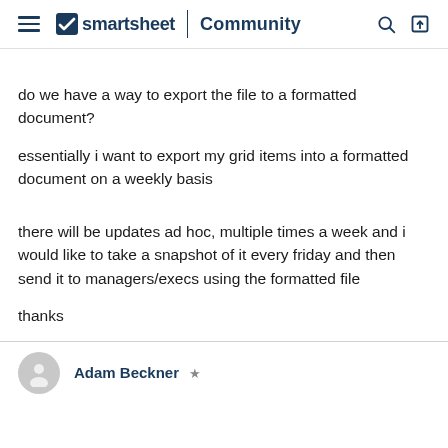smartsheet Community
do we have a way to export the file to a formatted document?
essentially i want to export my grid items into a formatted document on a weekly basis
there will be updates ad hoc, multiple times a week and i would like to take a snapshot of it every friday and then send it to managers/execs using the formatted file
thanks
Adam Beckner ★